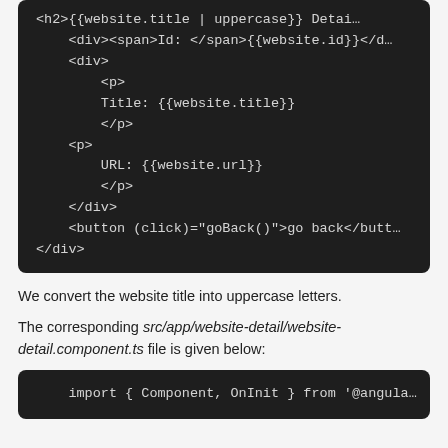[Figure (screenshot): Dark-themed code block showing HTML template snippet with Angular template syntax: h2 title uppercase, div with span Id, div with p Title, p URL, closing divs, button with click goBack()]
We convert the website title into uppercase letters.
The corresponding src/app/website-detail/website-detail.component.ts file is given below:
[Figure (screenshot): Dark-themed code block showing TypeScript import statement: import { Component, OnInit } from '@angula...]